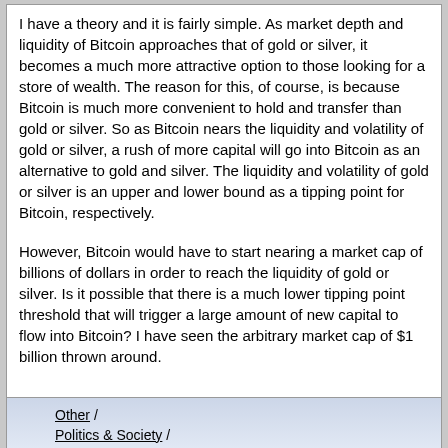I have a theory and it is fairly simple. As market depth and liquidity of Bitcoin approaches that of gold or silver, it becomes a much more attractive option to those looking for a store of wealth. The reason for this, of course, is because Bitcoin is much more convenient to hold and transfer than gold or silver. So as Bitcoin nears the liquidity and volatility of gold or silver, a rush of more capital will go into Bitcoin as an alternative to gold and silver. The liquidity and volatility of gold or silver is an upper and lower bound as a tipping point for Bitcoin, respectively.
However, Bitcoin would have to start nearing a market cap of billions of dollars in order to reach the liquidity of gold or silver. Is it possible that there is a much lower tipping point threshold that will trigger a large amount of new capital to flow into Bitcoin? I have seen the arbitrary market cap of $1 billion thrown around.
11   Other / Politics & Society / Can a bank you have no business with at all raid your home? No   on: September 08, 2012, 07:27:32 PM